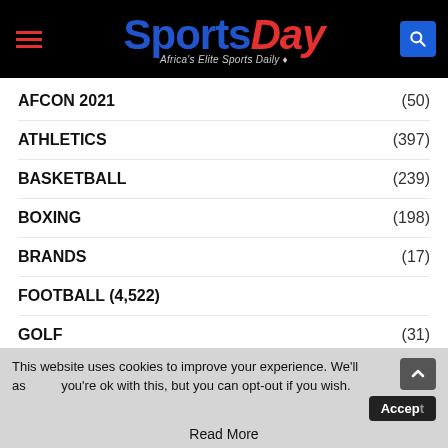SportsDay — Africa's Elite Sports Daily
AFCON 2021 (50)
ATHLETICS (397)
BASKETBALL (239)
BOXING (198)
BRANDS (17)
FOOTBALL (4,522)
GOLF (31)
INTERVIEW (10)
LIFESTYLE (15)
NATIONAL NEWS (74)
NPL (???)
This website uses cookies to improve your experience. We'll assume you're ok with this, but you can opt-out if you wish. Accept. Read More